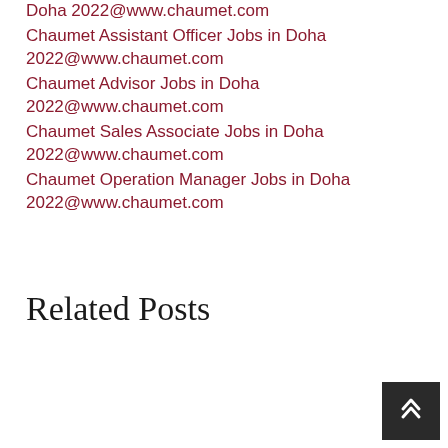Doha 2022@www.chaumet.com
Chaumet Assistant Officer Jobs in Doha 2022@www.chaumet.com
Chaumet Advisor Jobs in Doha 2022@www.chaumet.com
Chaumet Sales Associate Jobs in Doha 2022@www.chaumet.com
Chaumet Operation Manager Jobs in Doha 2022@www.chaumet.com
Related Posts